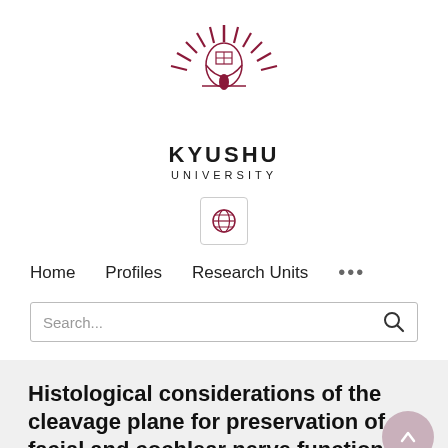[Figure (logo): Kyushu University logo – a stylized sunburst crest in dark red/maroon above the text KYUSHU UNIVERSITY]
[Figure (other): Globe icon in a small bordered box, representing language/region selector]
Home   Profiles   Research Units   ...
Search...
Histological considerations of the cleavage plane for preservation of facial and cochlear nerve functions in vestibular schwannoma